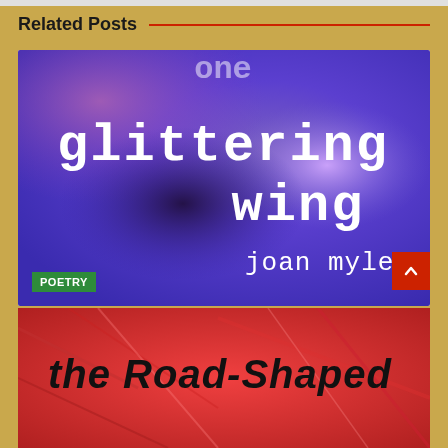Related Posts
[Figure (photo): Book cover for 'One Glittering Wing' by Joan Myles — blue/purple watercolor background with white typewriter-style text reading 'glittering wing' and 'joan myles', with a green POETRY badge in the lower left]
One Glittering Wing
9 months ago   Ann Chiappetta
[Figure (photo): Partial book cover visible — red/pink abstract background with black hand-drawn text reading 'the Road-Shaped']